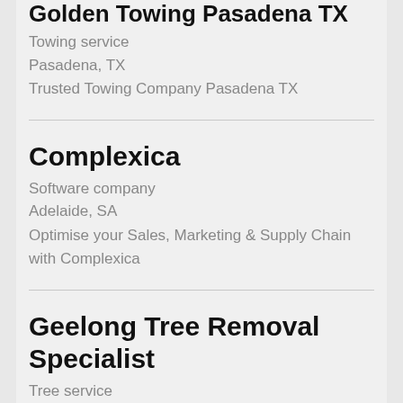Golden Towing Pasadena TX
Towing service
Pasadena, TX
Trusted Towing Company Pasadena TX
Complexica
Software company
Adelaide, SA
Optimise your Sales, Marketing & Supply Chain with Complexica
Geelong Tree Removal Specialist
Tree service